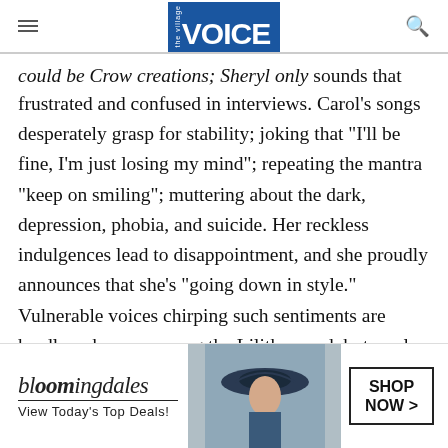the village VOICE
could be Crow creations; Sheryl only sounds that frustrated and confused in interviews. Carol’s songs desperately grasp for stability; joking that “I’ll be fine, I’m just losing my mind”; repeating the mantra “keep on smiling”; muttering about the dark, depression, phobia, and suicide. Her reckless indulgences lead to disappointment, and she proudly announces that she’s “going down in style.” Vulnerable voices chirping such sentiments are hardly unknown among the Lilith crowd, but rarely
[Figure (advertisement): Bloomingdale's advertisement with woman wearing large hat. Text: bloomingdales, View Today's Top Deals!, SHOP NOW >]